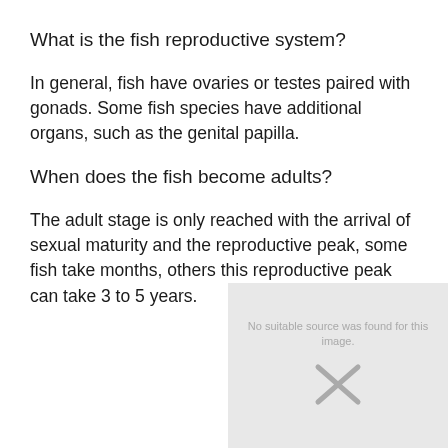What is the fish reproductive system?
In general, fish have ovaries or testes paired with gonads. Some fish species have additional organs, such as the genital papilla.
When does the fish become adults?
The adult stage is only reached with the arrival of sexual maturity and the reproductive peak, some fish take months, others this reproductive peak can take 3 to 5 years.
[Figure (other): Broken image placeholder with text 'No suitable source was found for this image' and an X symbol indicating a missing image.]